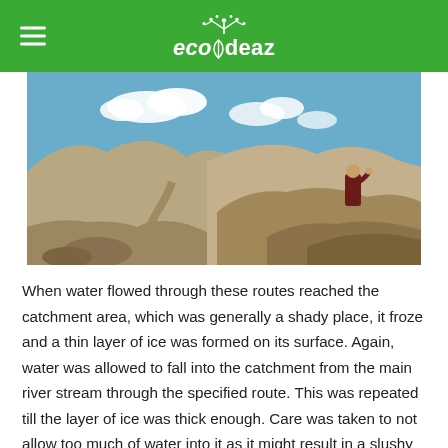ecodeaz
[Figure (photo): A monk in dark red robes stands on a rocky hillside overlooking a dry mountain valley with a winding path and blue sky with clouds in the background, likely in Ladakh, India.]
When water flowed through these routes reached the catchment area, which was generally a shady place, it froze and a thin layer of ice was formed on its surface. Again, water was allowed to fall into the catchment from the main river stream through the specified route. This was repeated till the layer of ice was thick enough. Care was taken to not allow too much of water into it as it might result in a slushy